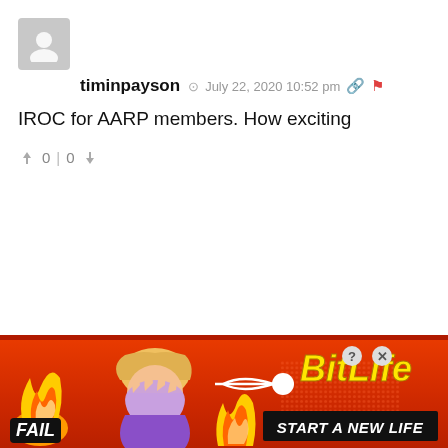[Figure (screenshot): User avatar placeholder (grey silhouette icon)]
timinpayson  July 22, 2020 10:52 pm
IROC for AARP members. How exciting
0 | 0
[Figure (infographic): BitLife advertisement banner with FAIL text, animated character, flames, sperm icon, BitLife logo, and START A NEW LIFE text on red background]